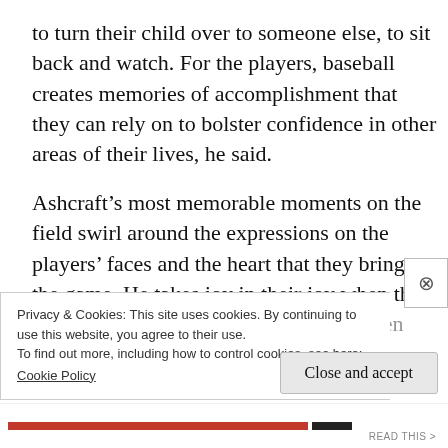to turn their child over to someone else, to sit back and watch. For the players, baseball creates memories of accomplishment that they can rely on to bolster confidence in other areas of their lives, he said.
Ashcraft’s most memorable moments on the field swirl around the expressions on the players’ faces and the heart that they bring to the game. He takes joy in their joy when they hold and swing a bat by themselves, when
Privacy & Cookies: This site uses cookies. By continuing to use this website, you agree to their use.
To find out more, including how to control cookies, see here:
Cookie Policy
Close and accept